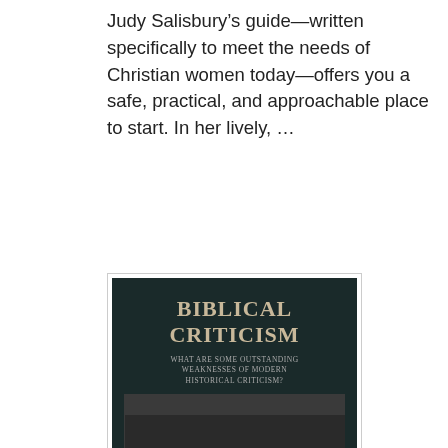Judy Salisbury’s guide—written specifically to meet the needs of Christian women today—offers you a safe, practical, and approachable place to start. In her lively, …
[Figure (photo): Book cover of 'Biblical Criticism: What are Some Outstanding Weaknesses of Modern Historical Criticism?' with dark background and black-and-white image of books/hands, authors listed at bottom.]
BIBLICAL CRITICISM: What are Some Outstanding Weaknesses of Modern Historical Criticism
Historical Criticism of the Bible got started in earnest, known then as Higher Criticism, during the 18th and 19th centuries, it is also known as the